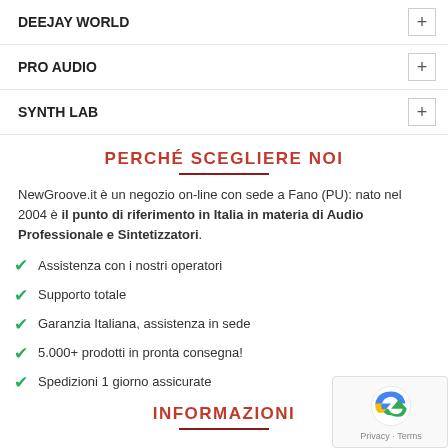DEEJAY WORLD
PRO AUDIO
SYNTH LAB
PERCHÉ SCEGLIERE NOI
NewGroove.it è un negozio on-line con sede a Fano (PU): nato nel 2004 è il punto di riferimento in Italia in materia di Audio Professionale e Sintetizzatori.
Assistenza con i nostri operatori
Supporto totale
Garanzia Italiana, assistenza in sede
5.000+ prodotti in pronta consegna!
Spedizioni 1 giorno assicurate
INFORMAZIONI
Contatti
FAQ
My Account
Condizioni di vendita